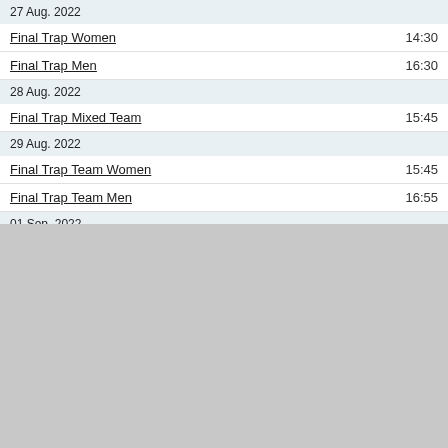27 Aug. 2022
Final Trap Women   14:30
Final Trap Men   16:30
28 Aug. 2022
Final Trap Mixed Team   15:45
29 Aug. 2022
Final Trap Team Women   15:45
Final Trap Team Men   16:55
01 Sep. 2022
Final Trap Women Junior   14:45
[Figure (screenshot): Cookie consent banner overlaying sponsor logos area with ISSF, IOC, WADA, and Tokyo 2020 logos. Banner reads: 'This website uses cookies to ensure you get the best experience on our website. Learn more' with a 'Got it!' button.]